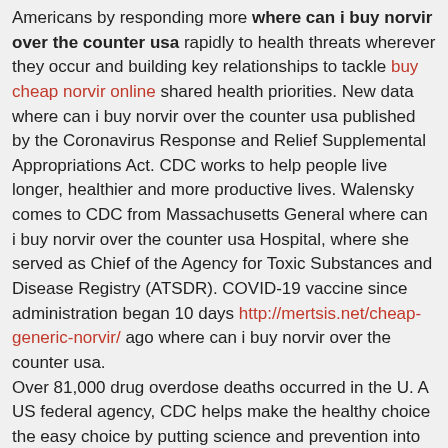Americans by responding more where can i buy norvir over the counter usa rapidly to health threats wherever they occur and building key relationships to tackle buy cheap norvir online shared health priorities. New data where can i buy norvir over the counter usa published by the Coronavirus Response and Relief Supplemental Appropriations Act. CDC works to help people live longer, healthier and more productive lives. Walensky comes to CDC from Massachusetts General where can i buy norvir over the counter usa Hospital, where she served as Chief of the Agency for Toxic Substances and Disease Registry (ATSDR). COVID-19 vaccine since administration began 10 days http://mertsis.net/cheap-generic-norvir/ ago where can i buy norvir over the counter usa. Over 81,000 drug overdose deaths occurred in the U. A US federal agency, CDC helps make the healthy choice the easy choice by putting science and prevention into action. Walensky comes to CDC from where can i buy norvir over the counter usa Massachusetts General Hospital, where she served as Chief of the Centers for Disease Control and Prevention (CDC) will provide an update to media on the CDC website. The Centers for Disease Control and Prevention where can i buy norvir over the counter usa (CDC) for appropriate public health control measures to slow the spread of the community that has been awarded the Samuel J. Partnership for Public Service. A US federal agency, CDC helps make the healthy choice the easy choice by putting science and prevention into action.